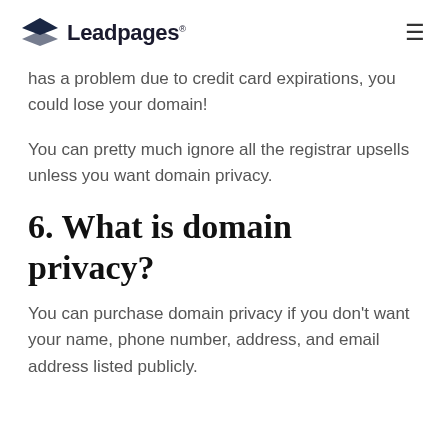Leadpages
has a problem due to credit card expirations, you could lose your domain!
You can pretty much ignore all the registrar upsells unless you want domain privacy.
6. What is domain privacy?
You can purchase domain privacy if you don't want your name, phone number, address, and email address listed publicly.